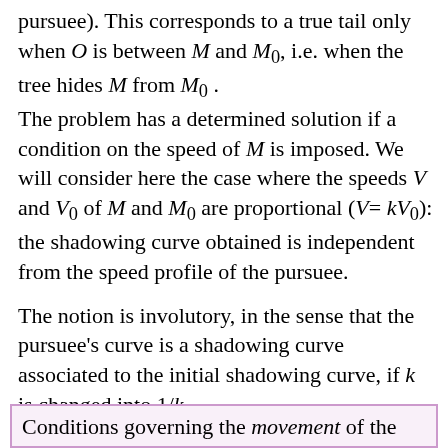pursuee). This corresponds to a true tail only when O is between M and M₀, i.e. when the tree hides M from M₀. The problem has a determined solution if a condition on the speed of M is imposed. We will consider here the case where the speeds V and V₀ of M and M₀ are proportional (V= kV₀): the shadowing curve obtained is independent from the speed profile of the pursuee.
The notion is involutory, in the sense that the pursuee's curve is a shadowing curve associated to the initial shadowing curve, if k is changed into 1/k.
Conditions governing the movement of the